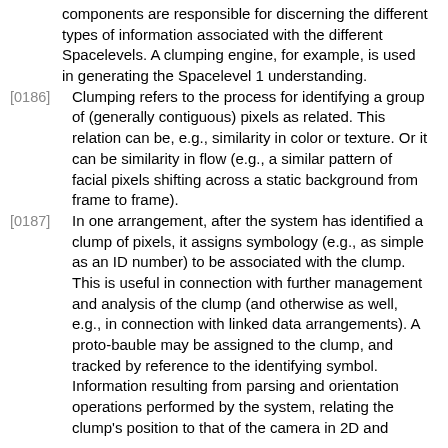components are responsible for discerning the different types of information associated with the different Spacelevels. A clumping engine, for example, is used in generating the Spacelevel 1 understanding.
[0186] Clumping refers to the process for identifying a group of (generally contiguous) pixels as related. This relation can be, e.g., similarity in color or texture. Or it can be similarity in flow (e.g., a similar pattern of facial pixels shifting across a static background from frame to frame).
[0187] In one arrangement, after the system has identified a clump of pixels, it assigns symbology (e.g., as simple as an ID number) to be associated with the clump. This is useful in connection with further management and analysis of the clump (and otherwise as well, e.g., in connection with linked data arrangements). A proto-bauble may be assigned to the clump, and tracked by reference to the identifying symbol. Information resulting from parsing and orientation operations performed by the system, relating the clump's position to that of the camera in 2D and